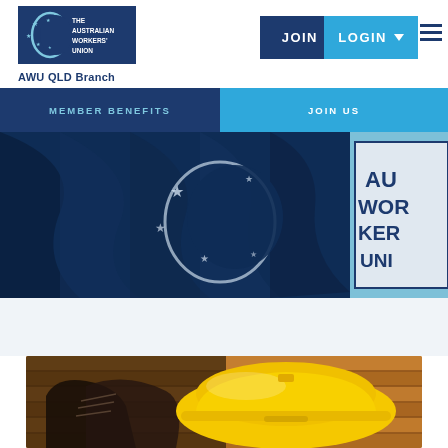[Figure (logo): The Australian Workers' Union logo - AWU QLD Branch]
[Figure (screenshot): Navigation buttons: JOIN (dark blue) and LOGIN with dropdown arrow (light blue), hamburger menu icon]
[Figure (screenshot): Banner navigation bar with MEMBER BENEFITS on dark blue left and JOIN US on light blue right]
[Figure (photo): Australian flag and AWU banner/sign in dark blue tones]
[Figure (photo): Work boots and yellow hard hat on wooden planks - construction/worker safety theme]